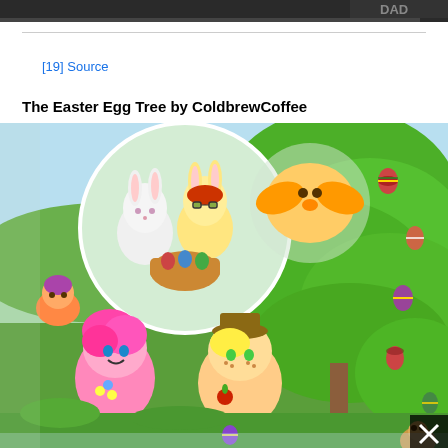[Figure (illustration): Top strip showing partial image of dark-themed character illustration]
[19] Source
The Easter Egg Tree by ColdbrewCoffee
[Figure (illustration): My Little Pony fan art titled 'The Easter Egg Tree by ColdbrewCoffee' showing cartoon ponies in Easter bunny costumes holding Easter eggs, with a large green tree decorated with colorful Easter eggs. Characters include Pinkie Pie and Applejack in the foreground, and Sweetie Belle, Apple Bloom in bunny costumes in a circular vignette. A close button (X) appears in the bottom right corner.]